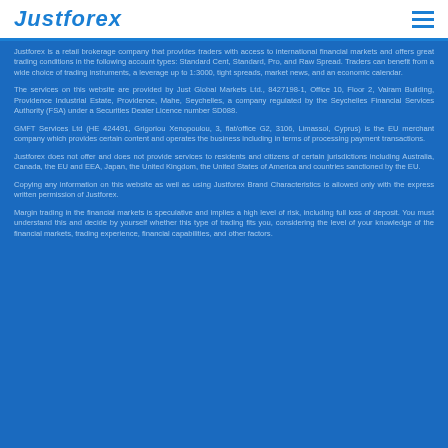Justforex
Justforex is a retail brokerage company that provides traders with access to international financial markets and offers great trading conditions in the following account types: Standard Cent, Standard, Pro, and Raw Spread. Traders can benefit from a wide choice of trading instruments, a leverage up to 1:3000, tight spreads, market news, and an economic calendar.
The services on this website are provided by Just Global Markets Ltd., 8427198-1, Office 10, Floor 2, Vairam Building, Providence Industrial Estate, Providence, Mahe, Seychelles, a company regulated by the Seychelles Financial Services Authority (FSA) under a Securities Dealer Licence number SD088.
GMFT Services Ltd (HE 424491, Grigoriou Xenopoulou, 3, flat/office G2, 3106, Limassol, Cyprus) is the EU merchant company which provides certain content and operates the business including in terms of processing payment transactions.
Justforex does not offer and does not provide services to residents and citizens of certain jurisdictions including Australia, Canada, the EU and EEA, Japan, the United Kingdom, the United States of America and countries sanctioned by the EU.
Copying any information on this website as well as using Justforex Brand Characteristics is allowed only with the express written permission of Justforex.
Margin trading in the financial markets is speculative and implies a high level of risk, including full loss of deposit. You must understand this and decide by yourself whether this type of trading fits you, considering the level of your knowledge of the financial markets, trading experience, financial capabilities, and other factors.